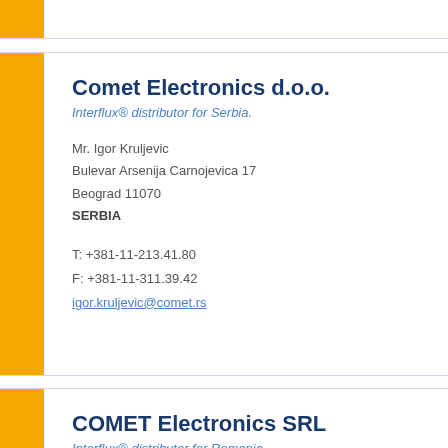Comet Electronics d.o.o.
Interflux® distributor for Serbia.
Mr. Igor Kruljevic
Bulevar Arsenija Carnojevica 17
Beograd 11070
SERBIA
T: +381-11-213.41.80
F: +381-11-311.39.42
igor.kruljevic@comet.rs
COMET Electronics SRL
Interflux® distributor for Romania.